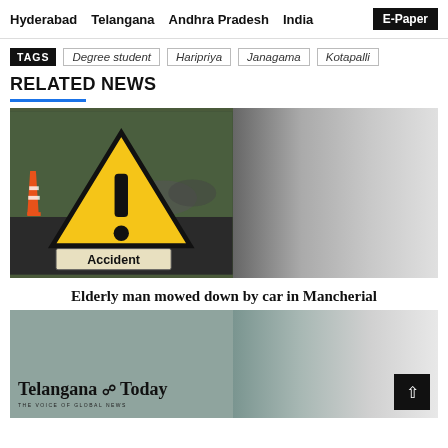Hyderabad   Telangana   Andhra Pradesh   India   E-Paper
TAGS  Degree student  Haripriya  Janagama  Kotapalli
RELATED NEWS
[Figure (photo): Accident warning sign — yellow triangle with exclamation mark and 'Accident' text box, with traffic cones and blurred vehicles in background. Right half fades to gray gradient.]
Elderly man mowed down by car in Mancherial
[Figure (logo): Telangana Today newspaper logo on a muted teal/gray background. Right half fades to light gray gradient.]